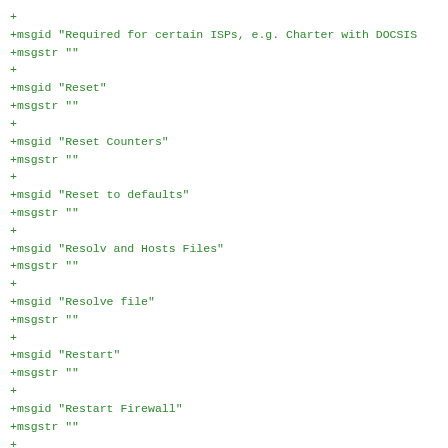+
+msgid "Required for certain ISPs, e.g. Charter with DOCSIS
+msgstr ""
+
+msgid "Reset"
+msgstr ""
+
+msgid "Reset Counters"
+msgstr ""
+
+msgid "Reset to defaults"
+msgstr ""
+
+msgid "Resolv and Hosts Files"
+msgstr ""
+
+msgid "Resolve file"
+msgstr ""
+
+msgid "Restart"
+msgstr ""
+
+msgid "Restart Firewall"
+msgstr ""
+
+msgid "Restore backup"
+msgstr ""
+
+msgid "Reveal/hide password"
+msgstr ""
+
+msgid "Revert"